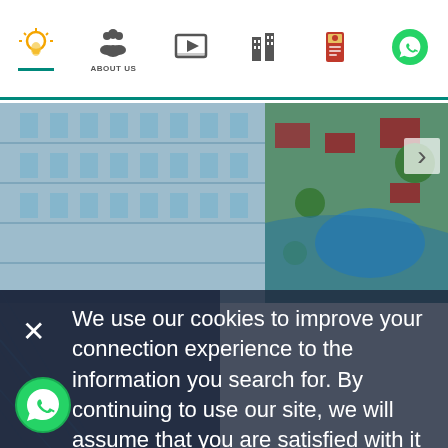[Figure (screenshot): Navigation bar with icons: lightbulb (active), About Us (group of people), video play button, buildings/real estate, passport, WhatsApp]
[Figure (photo): Hotel/resort building facade on left, aerial view of resort with red-roofed buildings and pool on right]
We use our cookies to improve your connection experience to the information you search for. By continuing to use our site, we will assume that you are satisfied with it Terms of use .
[Figure (logo): WhatsApp floating action button (green circle with phone icon)]